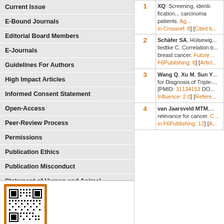Current Issue
E-Bound Journals
Editorial Board Members
E-Journals
Guidelines For Authors
High Impact Articles
Informed Consent Statement
Open-Access
Peer-Review Process
Permissions
Publication Ethics
Publication Misconduct
Statement of Human and Animal
Steps for Submitting Manuscripts
Submit a Manuscript
[Figure (other): QR code on orange background]
| # | Reference |
| --- | --- |
| 1 | XQ: Screening, identification... carcinoma patients. Ag... in Crossref: 8] [Cited b... |
| 2 | Schäfer SA, Hülsewig... liedtke C. Correlation b... breast cancer. Future... F6Publishing: 6] [Articl... |
| 3 | Wang Q, Xu M, Sun Y... for Diagnosis of Triple-... [PMID: 31134153 DO... Influence: 2.0] [Refere... |
| 4 | van Jaarsveld MTM,... relevance for cancer. C... in F6Publishing: 12] [A... |